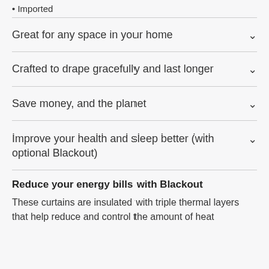Imported
Great for any space in your home
Crafted to drape gracefully and last longer
Save money, and the planet
Improve your health and sleep better (with optional Blackout)
Reduce your energy bills with Blackout
These curtains are insulated with triple thermal layers that help reduce and control the amount of heat